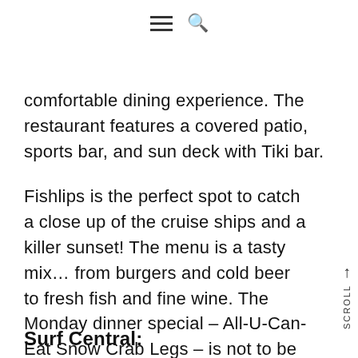[hamburger menu] [search icon]
comfortable dining experience. The restaurant features a covered patio, sports bar, and sun deck with Tiki bar.
Fishlips is the perfect spot to catch a close up of the cruise ships and a killer sunset! The menu is a tasty mix... from burgers and cold beer to fresh fish and fine wine. The Monday dinner special – All-U-Can-Eat Snow Crab Legs – is not to be missed.
Surf Central: